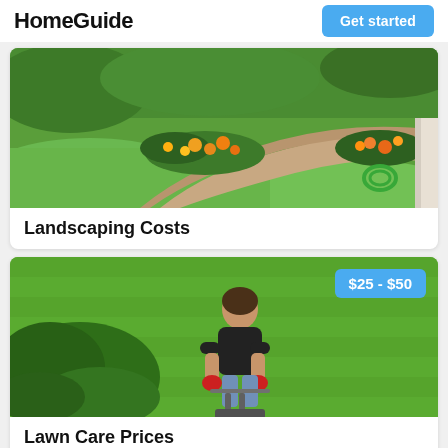HomeGuide
Get started
[Figure (photo): Aerial view of a landscaped garden with green lawn, curved flower beds with orange and yellow flowers, and a curved concrete walkway leading to a house.]
Landscaping Costs
[Figure (photo): Aerial view of a person in black shirt and jeans with red gloves pushing a lawn mower over green grass, with a price badge showing $25 - $50.]
Lawn Care Prices